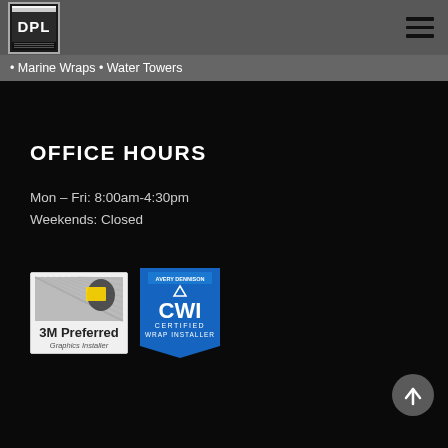DPL logo and navigation header
• Marine Wraps • Water Towers
OFFICE HOURS
Mon – Fri: 8:00am-4:30pm
Weekends: Closed
[Figure (logo): 3M Preferred Graphics Installer badge - white background with hand holding card graphic]
[Figure (logo): Avery Dennison CWI Certified Wrap Installer badge - blue shield/banner shape]